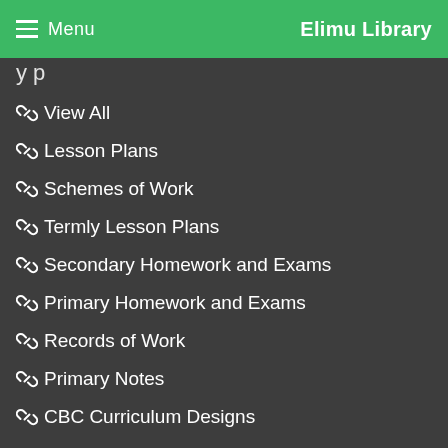Menu   Elimu Library
y p
View All
Lesson Plans
Schemes of Work
Termly Lesson Plans
Secondary Homework and Exams
Primary Homework and Exams
Records of Work
Primary Notes
CBC Curriculum Designs
Topical Questions
Assessment Rubrics - CBC